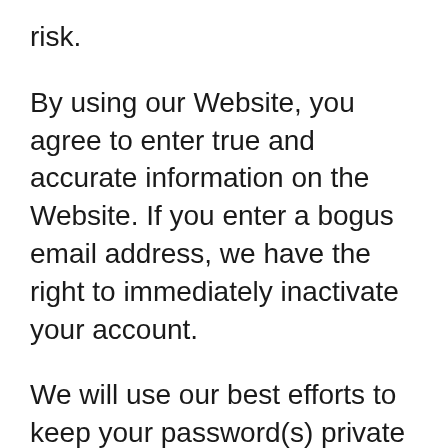risk.
By using our Website, you agree to enter true and accurate information on the Website. If you enter a bogus email address, we have the right to immediately inactivate your account.
We will use our best efforts to keep your password(s) private and will not otherwise share your password(s) without your consent, except as necessary when the law requires it or in the good faith belief that such action is necessary, particularly when disclosure is